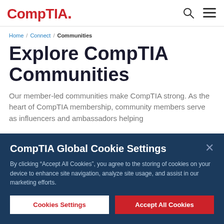CompTIA.
Home / Connect / Communities
Explore CompTIA Communities
Our member-led communities make CompTIA strong. As the heart of CompTIA membership, community members serve as influencers and ambassadors helping
CompTIA Global Cookie Settings
By clicking “Accept All Cookies”, you agree to the storing of cookies on your device to enhance site navigation, analyze site usage, and assist in our marketing efforts.
Cookies Settings | Accept All Cookies